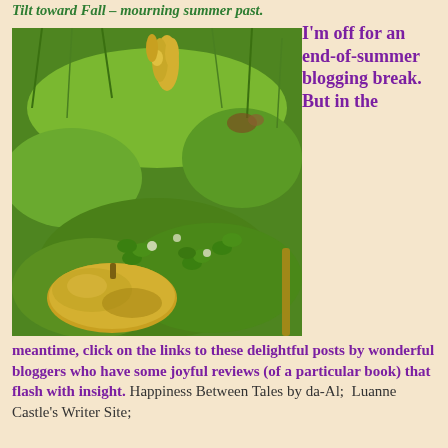Tilt toward Fall – mourning summer past.
[Figure (photo): A garden scene showing a yellow pumpkin or squash among green clover and grass, with yellow flowers visible above.]
I'm off for an end-of-summer blogging break. But in the
meantime, click on the links to these delightful posts by wonderful bloggers who have some joyful reviews (of a particular book) that flash with insight. Happiness Between Tales by da-Al;  Luanne Castle's Writer Site;